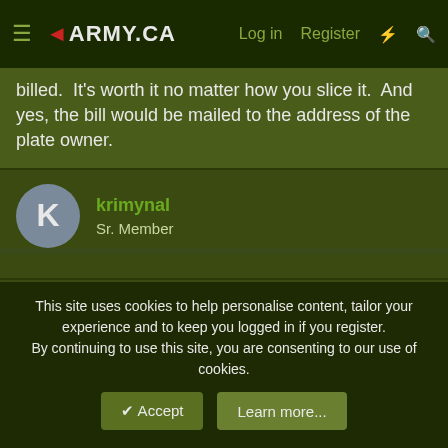ARMY.CA — Log in  Register
billed.  It's worth it no matter how you slice it.  And yes, the bill would be mailed to the address of the plate owner.
krimynal
Sr. Member
10 Aug 2016   #283
mariomike ,

Not on the first trip , Ill wait and see if I can get a PMQ , if they allow me a PMQ , I will try to let them know about my reptiles and see what happens , if they don't allow me , I might have to get an apartment close to newmarket ( where it is 100% legal )
This site uses cookies to help personalise content, tailor your experience and to keep you logged in if you register.
By continuing to use this site, you are consenting to our use of cookies.